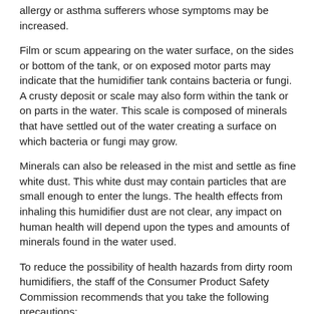allergy or asthma sufferers whose symptoms may be increased.
Film or scum appearing on the water surface, on the sides or bottom of the tank, or on exposed motor parts may indicate that the humidifier tank contains bacteria or fungi. A crusty deposit or scale may also form within the tank or on parts in the water. This scale is composed of minerals that have settled out of the water creating a surface on which bacteria or fungi may grow.
Minerals can also be released in the mist and settle as fine white dust. This white dust may contain particles that are small enough to enter the lungs. The health effects from inhaling this humidifier dust are not clear, any impact on human health will depend upon the types and amounts of minerals found in the water used.
To reduce the possibility of health hazards from dirty room humidifiers, the staff of the Consumer Product Safety Commission recommends that you take the following precautions:
Do not allow film and scale to develop in your humidifier. If